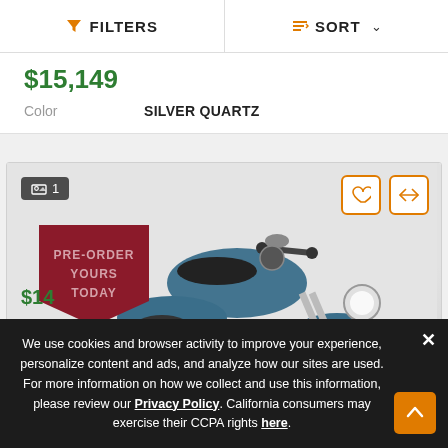FILTERS | SORT
$15,149
Color   SILVER QUARTZ
[Figure (photo): Blue Indian Scout motorcycle with pre-order badge overlay reading 'PRE-ORDER YOURS TODAY' on a red pennant banner]
We use cookies and browser activity to improve your experience, personalize content and ads, and analyze how our sites are used. For more information on how we collect and use this information, please review our Privacy Policy. California consumers may exercise their CCPA rights here.